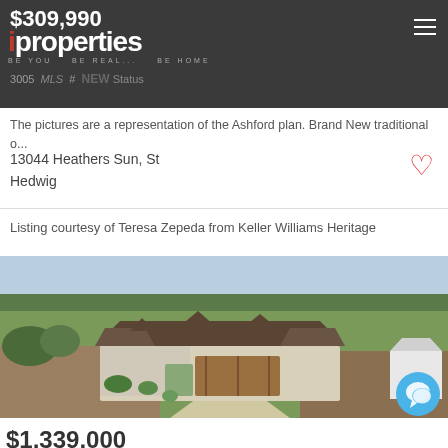$309,990 | properties BE YOU BE REAL... BE HOME | MLS # NEW Status
The pictures are a representation of the Ashford plan. Brand New traditional o...
13044 Heathers Sun, St
Hedwig
Listing courtesy of Teresa Zepeda from Keller Williams Heritage
[Figure (photo): Aerial drone photo of a new single-story stone house with dark roof, large garage, curved driveway, surrounded by open green fields and trees in background. White metal building visible to the right.]
$1,339,000